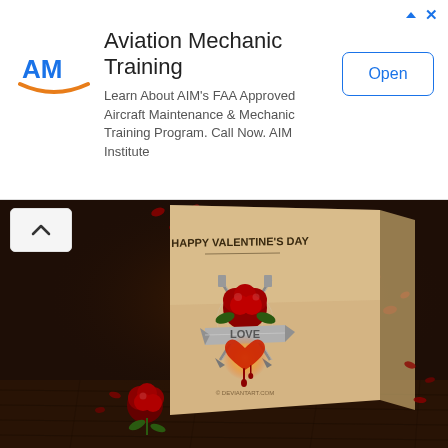[Figure (infographic): Advertisement banner for Aviation Mechanic Training by AIM Institute. Contains AIM logo (blue letters with orange swoosh), title 'Aviation Mechanic Training', body text 'Learn About AIM's FAA Approved Aircraft Maintenance & Mechanic Training Program. Call Now. AIM Institute', and an 'Open' button on the right. Small ad attribution icons in top right.]
[Figure (photo): 3D rendered Valentine's Day greeting card standing upright on a wooden surface in a dark moody setting. The card shows 'HAPPY VALENTINE'S DAY' text at top, a decorative design with swords/daggers, red roses, a glowing heart, and a banner reading 'LOVE'. A real red rose sits at the base of the card. Red rose petals are scattered around the dark background.]